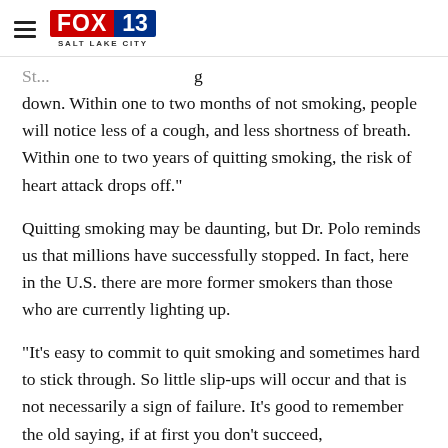FOX 13 SALT LAKE CITY
down. Within one to two months of not smoking, people will notice less of a cough, and less shortness of breath. Within one to two years of quitting smoking, the risk of heart attack drops off."
Quitting smoking may be daunting, but Dr. Polo reminds us that millions have successfully stopped. In fact, here in the U.S. there are more former smokers than those who are currently lighting up.
"It’s easy to commit to quit smoking and sometimes hard to stick through. So little slip-ups will occur and that is not necessarily a sign of failure. It’s good to remember the old saying, if at first you don’t succeed,